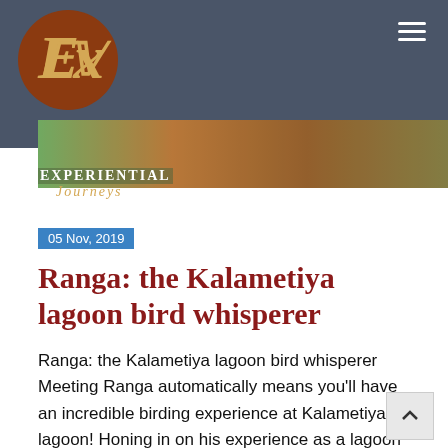Experiential Journeys Sri Lanka — Navigation header with logo and menu
[Figure (photo): Hero image strip showing colorful outdoor scene — green foliage, orange/red garments, brown tones]
EXPERIENTIAL
JOURNEYS
SRI LANKA
05 Nov, 2019
Ranga: the Kalametiya lagoon bird whisperer
Ranga: the Kalametiya lagoon bird whisperer Meeting Ranga automatically means you'll have an incredible birding experience at Kalametiya lagoon! Honing in on his experience as a lagoon fisherman in his teenage years, where every inch of the Kalametiya lagoon was explored, he's spent the last 11 years introducing birds to guests. Even living with lagoon wildlife, as he resides just a few hundred meters from the lagoon with his wife and daughters, keeps him on his toes with